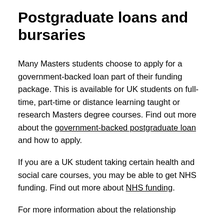Postgraduate loans and bursaries
Many Masters students choose to apply for a government-backed loan part of their funding package. This is available for UK students on full-time, part-time or distance learning taught or research Masters degree courses. Find out more about the government-backed postgraduate loan and how to apply.
If you are a UK student taking certain health and social care courses, you may be able to get NHS funding. Find out more about NHS funding.
For more information about the relationship